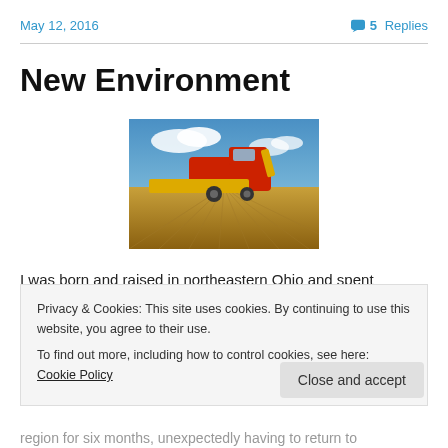May 12, 2016    💬 5 Replies
New Environment
[Figure (photo): A red combine harvester working in a golden wheat field under a blue sky with white clouds.]
I was born and raised in northeastern Ohio and spent
Privacy & Cookies: This site uses cookies. By continuing to use this website, you agree to their use.
To find out more, including how to control cookies, see here: Cookie Policy
region for six months, unexpectedly having to return to